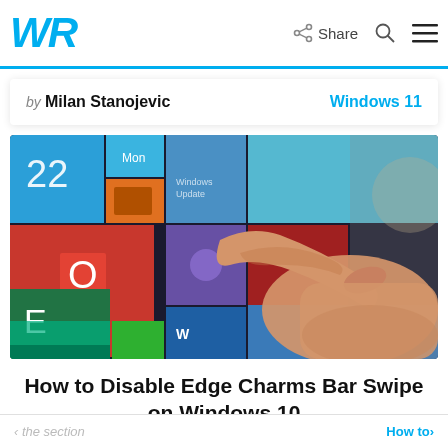WR | Share
by Milan Stanojevic    Windows 11
[Figure (photo): A finger touching a Windows tablet/touchscreen showing colorful Windows 8/10 start screen tiles including Microsoft Office, Word, and other apps]
How to Disable Edge Charms Bar Swipe on Windows 10